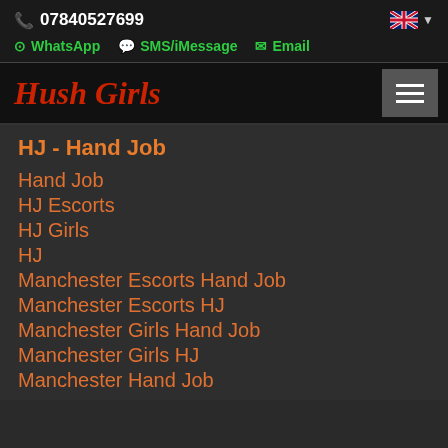07840527699
WhatsApp  SMS/iMessage  Email
Hush Girls
HJ - Hand Job
Hand Job
HJ Escorts
HJ Girls
HJ
Manchester Escorts Hand Job
Manchester Escorts HJ
Manchester Girls Hand Job
Manchester Girls HJ
Manchester Hand Job